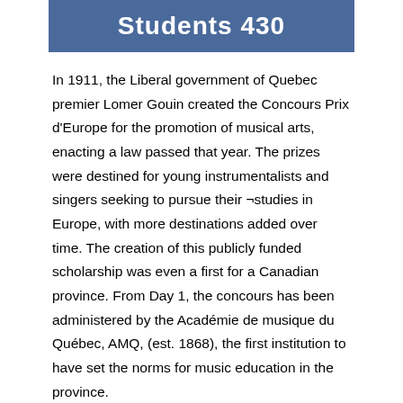[Figure (other): Blue banner header with white bold text partially visible reading 'Students 430' or similar]
In 1911, the Liberal government of Quebec premier Lomer Gouin created the Concours Prix d'Europe for the promotion of musical arts, enacting a law passed that year. The prizes were destined for young instrumentalists and singers seeking to pursue their ¬studies in Europe, with more destinations added over time. The creation of this publicly funded scholarship was even a first for a Canadian province. From Day 1, the concours has been administered by the Académie de musique du Québec, AMQ, (est. 1868), the first institution to have set the norms for music education in the province.
When looking back at the 11 decade-history of the event, the times had an important ¬bearing on the careers of its participants and winners. Even its name was a clue to